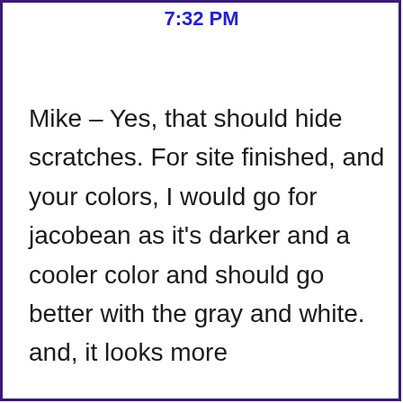7:32 PM
Mike – Yes, that should hide scratches. For site finished, and your colors, I would go for jacobean as it's darker and a cooler color and should go better with the gray and white. and, it looks more